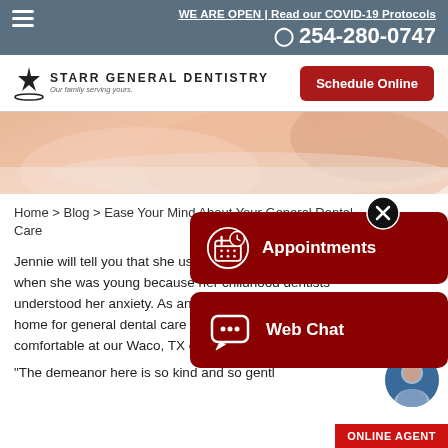WE ARE OPEN | Read our COVID-19 Protocols
254-280-0747
[Figure (logo): Starr General Dentistry logo with star icon and tagline 'Our family serving yours.']
[Figure (photo): Hero image of a patient relaxing in a dental chair, arms crossed, white background]
Home > Blog > Ease Your Mind About Your General Dental Care
[Figure (infographic): Red Appointments button with calendar icon overlay panel]
[Figure (infographic): Red Web Chat button with chat bubble icon overlay panel]
Jennie will tell you that she used to dread dental visits when she was young because her childhood dentists understood her anxiety. As an adult, she has found a home for general dental care where she feels comfortable at our Waco, TX office.
"The demeanor here is so kind and so gentl...